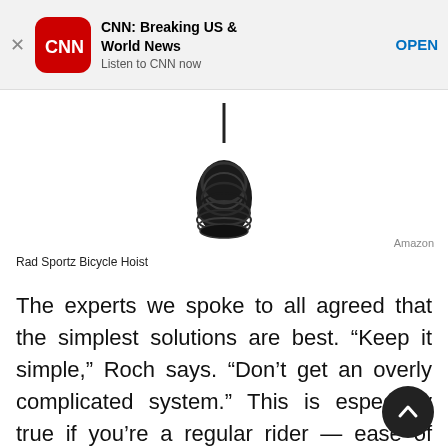[Figure (screenshot): App store banner for CNN: Breaking US & World News with red CNN logo icon, bold title, subtitle 'Listen to CNN now', and OPEN link button]
[Figure (photo): Product photo of a coiled black rope/hoist hanging against white background, labeled Amazon]
Rad Sportz Bicycle Hoist
The experts we spoke to all agreed that the simplest solutions are best. “Keep it simple,” Roch says. “Don’t get an overly complicated system.” This is especially true if you’re a regular rider — ease of access will be something you’ll want to consider. “Ceiling hoists can be nice to get your bike out the way, but often annoying to use so you may not end up riding your bike as much,” Roch says of a